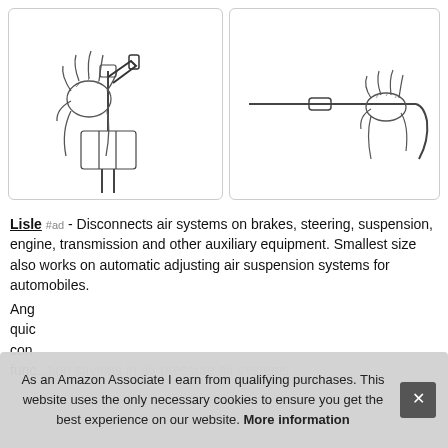[Figure (illustration): Two line-art illustrations side by side. Left: hands using a tool to disconnect an air fitting on a brake/suspension component. Right: a hand holding a rod with a small connector, demonstrating air system disconnection.]
Lisle #ad - Disconnects air systems on brakes, steering, suspension, engine, transmission and other auxiliary equipment. Smallest size also works on automatic adjusting air suspension systems for automobiles.
Ang... quic... con... func...tion savings in air pressure air systems
As an Amazon Associate I earn from qualifying purchases. This website uses the only necessary cookies to ensure you get the best experience on our website. More information